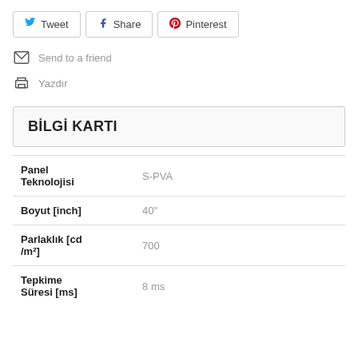Tweet
Share
Pinterest
Send to a friend
Yazdır
BİLGİ KARTI
|  |  |
| --- | --- |
| Panel Teknolojisi | S-PVA |
| Boyut [inch] | 40" |
| Parlaklık [cd /m²] | 700 |
| Tepkime Süresi [ms] | 8 ms |